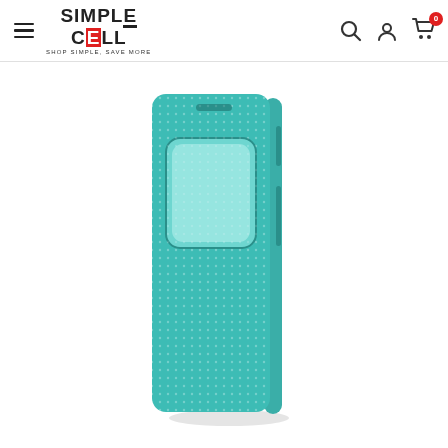Simple Cell — Shop Simple, Save More
[Figure (photo): Teal/blue leather-texture flip wallet phone case for Samsung Galaxy S6, standing upright closed, with rectangular view window on front cover]